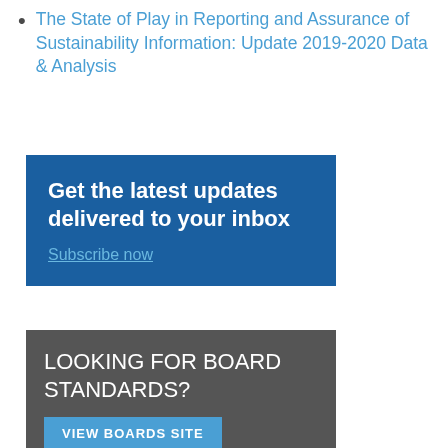The State of Play in Reporting and Assurance of Sustainability Information: Update 2019-2020 Data & Analysis
[Figure (infographic): Blue box with white bold text 'Get the latest updates delivered to your inbox' and a light blue underlined link 'Subscribe now']
[Figure (infographic): Dark gray box with white text 'LOOKING FOR BOARD STANDARDS?' and a blue button labeled 'VIEW BOARDS SITE']